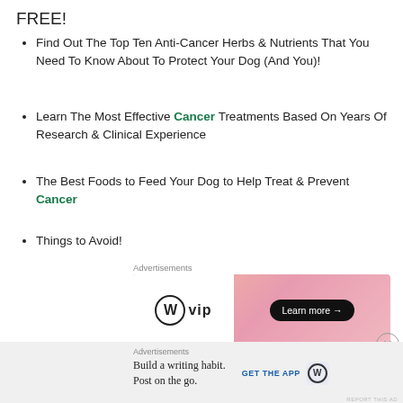FREE!
Find Out The Top Ten Anti-Cancer Herbs & Nutrients That You Need To Know About To Protect Your Dog (And You)!
Learn The Most Effective Cancer Treatments Based On Years Of Research & Clinical Experience
The Best Foods to Feed Your Dog to Help Treat & Prevent Cancer
Things to Avoid!
[Figure (screenshot): Advertisement banner for WordPress VIP with gradient orange-pink background and 'Learn more' button]
[Figure (screenshot): Bottom advertisement bar for WordPress app with 'Build a writing habit. Post on the go.' and GET THE APP button]